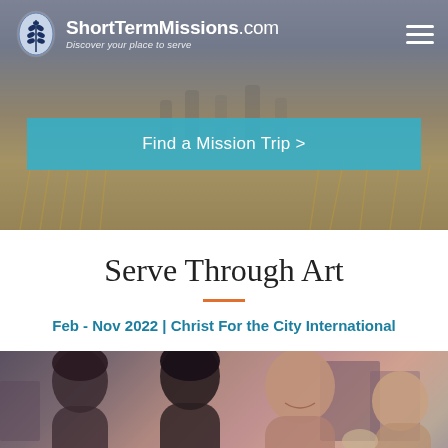ShortTermMissions.com — Discover your place to serve
[Figure (photo): Hero background image showing people in a wheat/grain field with a blurred outdoor landscape]
Find a Mission Trip >
Serve Through Art
Feb - Nov 2022 | Christ For the City International
[Figure (photo): Photo of a group of young women laughing and embracing, in an outdoor setting]